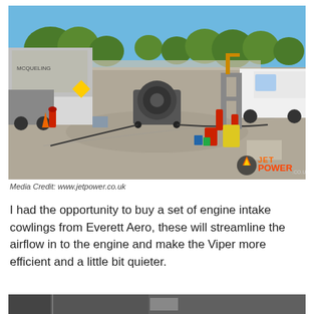[Figure (photo): Outdoor tarmac/parking lot scene with a jet engine on a wheeled cart in the center, a large truck on the left, a white pickup truck and fuel canisters on the right, fire extinguishers, trees in background under blue sky. JetPower.co.uk watermark logo in bottom right corner.]
Media Credit: www.jetpower.co.uk
I had the opportunity to buy a set of engine intake cowlings from Everett Aero, these will streamline the airflow in to the engine and make the Viper more efficient and a little bit quieter.
[Figure (photo): Partial view of a second photo at the bottom of the page, showing a darker indoor or close-up scene.]